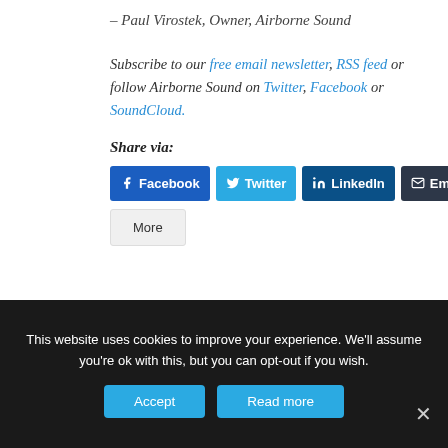– Paul Virostek, Owner, Airborne Sound
Subscribe to our free email newsletter, RSS feed or follow Airborne Sound on Twitter, Facebook or SoundCloud.
Share via:
Facebook  Twitter  LinkedIn  Email  More
This website uses cookies to improve your experience. We'll assume you're ok with this, but you can opt-out if you wish.
Accept  Read more